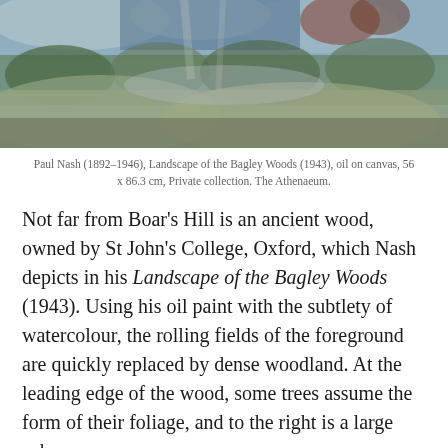[Figure (photo): Painting by Paul Nash showing a landscape with rolling fields, dense woodland, trees with foliage, and a large sphere. The sky shows broken cumulus clouds with shafts of sunlight.]
Paul Nash (1892–1946), Landscape of the Bagley Woods (1943), oil on canvas, 56 x 86.3 cm, Private collection. The Athenaeum.
Not far from Boar's Hill is an ancient wood, owned by St John's College, Oxford, which Nash depicts in his Landscape of the Bagley Woods (1943). Using his oil paint with the subtlety of watercolour, the rolling fields of the foreground are quickly replaced by dense woodland. At the leading edge of the wood, some trees assume the form of their foliage, and to the right is a large sphere.
In the background, silhouetted against the distant downs, is one of the Wittenham Clumps. Above is a sky of broken cumulus, the sunlight forming shafts which cast right back to Nash's paintings of the First World War.